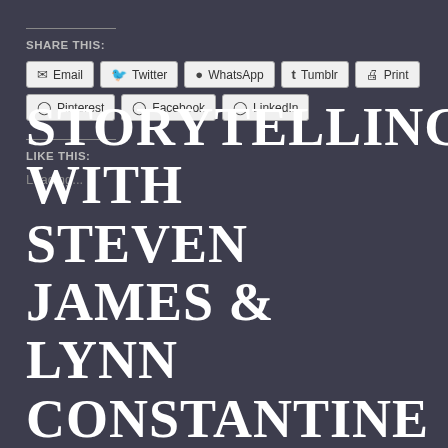SHARE THIS:
Email | Twitter | WhatsApp | Tumblr | Print | Pinterest | Facebook | LinkedIn
LIKE THIS:
Loading...
STORYTELLING WITH STEVEN JAMES & LYNN CONSTANTINE